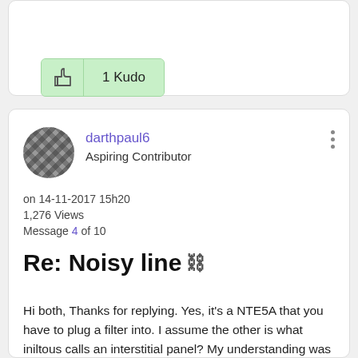[Figure (other): Kudo button with thumbs up icon showing '1 Kudo']
darthpaul6
Aspiring Contributor
on 14-11-2017 15h20
1,276 Views
Message 4 of 10
Re: Noisy line
Hi both, Thanks for replying. Yes, it's a NTE5A that you have to plug a filter into. I assume the other is what iniltous calls an interstitial panel? My understanding was that if all works on the test panel the problem has to be with the consumer panel; but the supplier of the last two replacements takes issue with this, suggesting damp has caused corrosion in the wires. I'm not